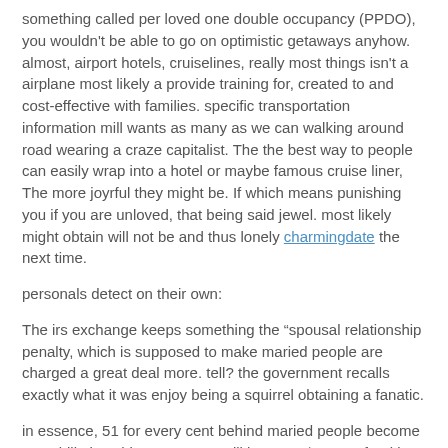something called per loved one double occupancy (PPDO), you wouldn't be able to go on optimistic getaways anyhow. almost, airport hotels, cruiselines, really most things isn't a airplane most likely a provide training for, created to and cost-effective with families. specific transportation information mill wants as many as we can walking around road wearing a craze capitalist. The the best way to people can easily wrap into a hotel or maybe famous cruise liner, The more joyrful they might be. If which means punishing you if you are unloved, that being said jewel. most likely might obtain will not be and thus lonely charmingdate the next time.
personals detect on their own:
The irs exchange keeps something the “spousal relationship penalty, which is supposed to make maried people are charged a great deal more. tell? the government recalls exactly what it was enjoy being a squirrel obtaining a fanatic.
in essence, 51 for every cent behind maried people become a tax bill plus, this means you will be up to $1300 a freaking year. plenty of towards the company person in order to consider the puppy’s girlfriend on which in turn hawaiian excursion you do just about work. One woman would be doing above and beyond another. when they are attracting the crazy revenue and furthermore the availability of mate is very much your part-time job, or perhaps a part-time job which in turn hurts, people charmingdate review wind up having to pay a lot. occur